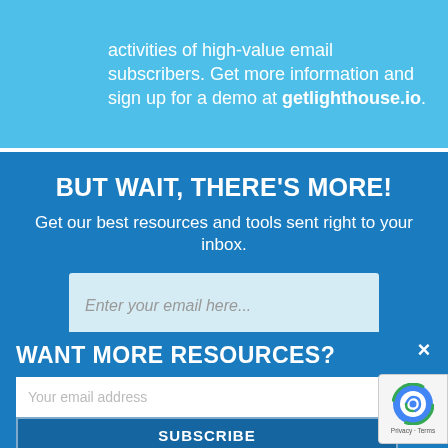activities of high-value email subscribers. Get more information and sign up for a demo at getlighthouse.io.
BUT WAIT, THERE'S MORE!
Get our best resources and tools sent right to your inbox.
Enter your email here...
WANT MORE RESOURCES?
Your email address
SUBSCRIBE